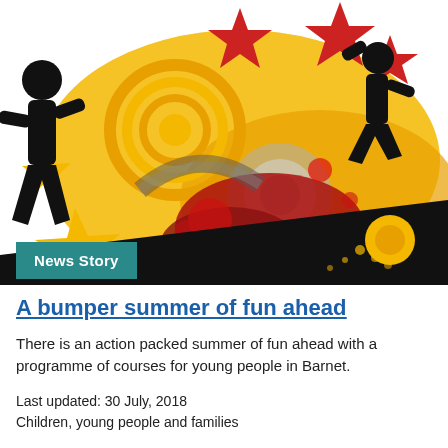[Figure (illustration): Colorful graphic illustration with silhouettes of people jumping/dancing, yellow and orange circular patterns, red splatter paint effects, stars in red and yellow, on a white background. Action/youth themed artwork.]
News Story
A bumper summer of fun ahead
There is an action packed summer of fun ahead with a programme of courses for young people in Barnet.
Last updated: 30 July, 2018
Children, young people and families